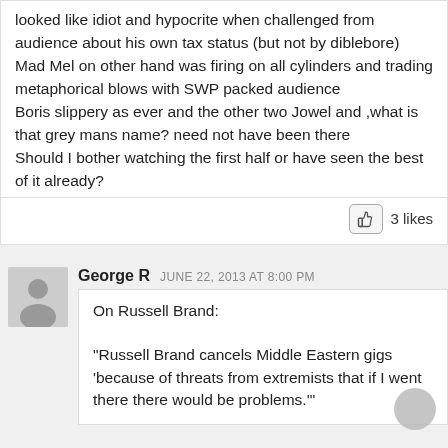looked like idiot and hypocrite when challenged from audience about his own tax status (but not by diblebore)
Mad Mel on other hand was firing on all cylinders and trading metaphorical blows with SWP packed audience
Boris slippery as ever and the other two Jowel and ,what is that grey mans name? need not have been there
Should I bother watching the first half or have seen the best of it already?
3 likes
George R   JUNE 22, 2013 AT 8:00 PM
On Russell Brand:

"Russell Brand cancels Middle Eastern gigs 'because of threats from extremists that if I went there there would be problems.'"